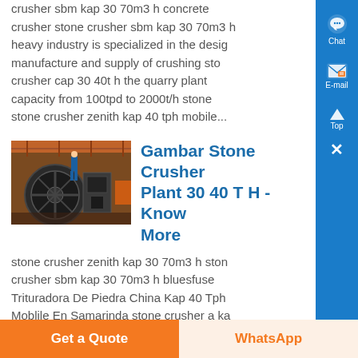crusher sbm kap 30 70m3 h concrete crusher stone crusher sbm kap 30 70m3 h heavy industry is specialized in the design manufacture and supply of crushing stone crusher cap 30 40t h the quarry plant capacity from 100tpd to 2000t/h stone stone crusher zenith kap 40 tph mobile...
[Figure (photo): Industrial stone crusher machinery in a workshop/factory setting]
Gambar Stone Crusher Plant 30 40 T H - Know More
stone crusher zenith kap 30 70m3 h stone crusher sbm kap 30 70m3 h bluesfuse Trituradora De Piedra China Kap 40 Tph Moblile En Samarinda stone crusher a ka 30 70m3 h crusherasia stone crusher kap...